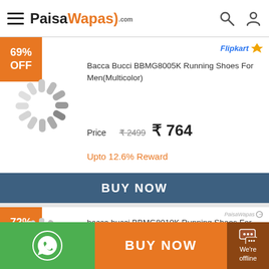PaisaWapas.com
69% OFF
Bacca Bucci BBMG8005K Running Shoes For Men(Multicolor)
Price ₹2499 ₹764
Upto 12.6% Reward
BUY NOW
72% OFF
bacca bucci BBMG8010K Running Shoes For Men(Multicolor)
Price ₹2499 ₹679
BUY NOW
We're offline